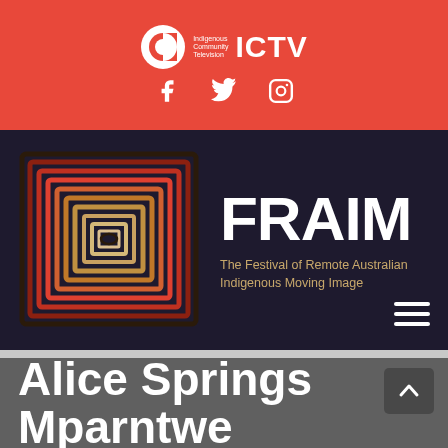ICTV - Indigenous Community Television
[Figure (logo): ICTV logo with circular icon and text, plus Facebook, Twitter, and Instagram social media icons on red background]
[Figure (illustration): FRAIM - The Festival of Remote Australian Indigenous Moving Image banner with concentric square Indigenous artwork on dark purple/navy background]
Alice Springs Mparntwe